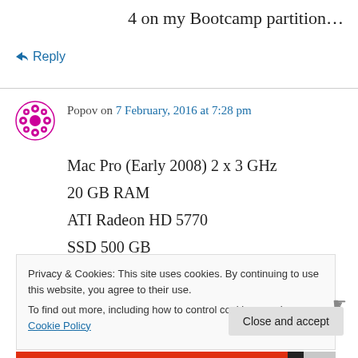4 on my Bootcamp partition…
↳ Reply
Popov on 7 February, 2016 at 7:28 pm
Mac Pro (Early 2008) 2 x 3 GHz
20 GB RAM
ATI Radeon HD 5770
SSD 500 GB
Yosemite
Privacy & Cookies: This site uses cookies. By continuing to use this website, you agree to their use.
To find out more, including how to control cookies, see here: Cookie Policy
Close and accept